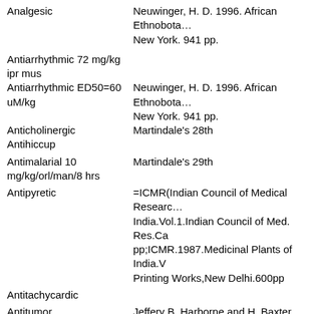Analgesic
Neuwinger, H. D. 1996. African Ethnobota… New York. 941 pp.
Antiarrhythmic 72 mg/kg ipr mus
Antiarrhythmic ED50=60 uM/kg
Neuwinger, H. D. 1996. African Ethnobota… New York. 941 pp.
Anticholinergic
Martindale's 28th
Antihiccup
Antimalarial 10 mg/kg/orl/man/8 hrs
Martindale's 29th
Antipyretic
=ICMR(Indian Council of Medical Research) India.Vol.1.Indian Council of Med. Res.Ca pp;ICMR.1987.Medicinal Plants of India.V Printing Works,New Delhi.600pp
Antitachycardic
Antitumor
Jeffery B. Harborne and H. Baxter, eds. 19… of Bioactive Compounds from Plants. Tayl…
Cardiodepressant
Williamson, E. M. and Evans, F. J., Potter's Preparations, Revised Ed., Saffron Walden. pp, 1988, reprint 1989.
Dermatitigenic
Emetic